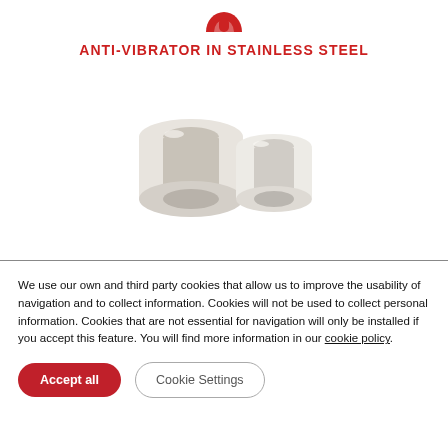[Figure (logo): Partial red logo/icon at top center, appears to be a hand or tool icon in red]
ANTI-VIBRATOR IN STAINLESS STEEL
[Figure (photo): Two white cylindrical anti-vibrator components made of stainless steel/nylon, one slightly larger than the other, photographed on white background]
We use our own and third party cookies that allow us to improve the usability of navigation and to collect information. Cookies will not be used to collect personal information. Cookies that are not essential for navigation will only be installed if you accept this feature. You will find more information in our cookie policy.